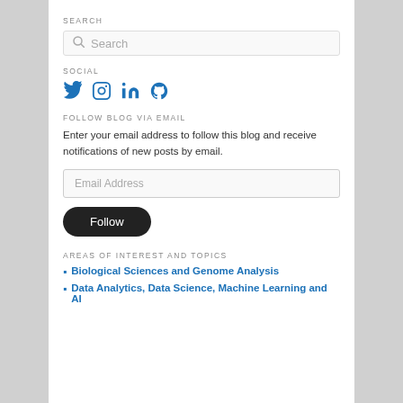SEARCH
[Figure (screenshot): Search input box with magnifying glass icon and placeholder text 'Search']
SOCIAL
[Figure (infographic): Social media icons: Twitter, Instagram, LinkedIn, GitHub in blue]
FOLLOW BLOG VIA EMAIL
Enter your email address to follow this blog and receive notifications of new posts by email.
[Figure (screenshot): Email Address input field]
[Figure (screenshot): Follow button, black rounded rectangle]
AREAS OF INTEREST AND TOPICS
Biological Sciences and Genome Analysis
Data Analytics, Data Science, Machine Learning and AI